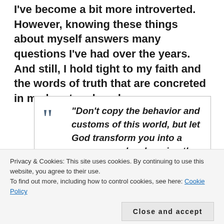I've become a bit more introverted. However, knowing these things about myself answers many questions I've had over the years. And still, I hold tight to my faith and the words of truth that are concreted in my heart and soul.
“Don’t copy the behavior and customs of this world, but let God transform you into a new person by changing the way you think. Then you will learn to know God’s will for you, which is good and pleasing and perfect.”
Privacy & Cookies: This site uses cookies. By continuing to use this website, you agree to their use.
To find out more, including how to control cookies, see here: Cookie Policy